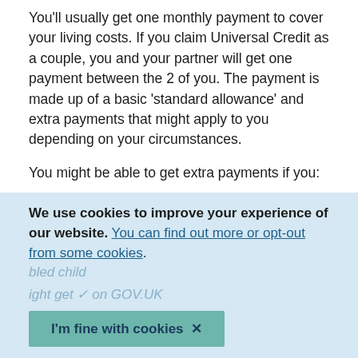You'll usually get one monthly payment to cover your living costs. If you claim Universal Credit as a couple, you and your partner will get one payment between the 2 of you. The payment is made up of a basic 'standard allowance' and extra payments that might apply to you depending on your circumstances.
You might be able to get extra payments if you:
look after one or more children
work and pay for childcare
need help with housing costs
We use cookies to improve your experience of our website. You can find out more or opt-out from some cookies.
I'm fine with cookies ✕